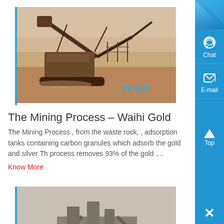[Figure (photo): Mining excavator equipment at a site with orange/brown dusty terrain. ZENIT watermark visible in blue.]
The Mining Process – Waihi Gold
The Mining Process , from the waste rock, , adsorption tanks containing carbon granules which adsorb the gold and silver The process removes 93% of the gold ....
Know More
[Figure (photo): Mining processing plant with conveyors and machinery in a flat dusty area. ZENIT watermark visible in blue.]
Mining: The Hard Rock Mining Process -